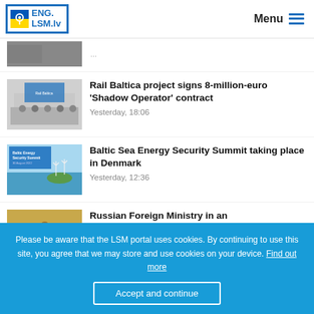ENG.LSM.lv  Menu
[Figure (photo): Partially visible news thumbnail at top of list]
Rail Baltica project signs 8-million-euro 'Shadow Operator' contract
Yesterday, 18:06
[Figure (photo): Rail Baltica press conference image with people at table]
Baltic Sea Energy Security Summit taking place in Denmark
Yesterday, 12:36
[Figure (photo): Baltic Energy Security Summit banner with sea and wind turbines]
Russian Foreign Ministry in an
[Figure (photo): Partially visible golden/yellow background thumbnail]
Please be aware that the LSM portal uses cookies. By continuing to use this site, you agree that we may store and use cookies on your device. Find out more
Accept and continue